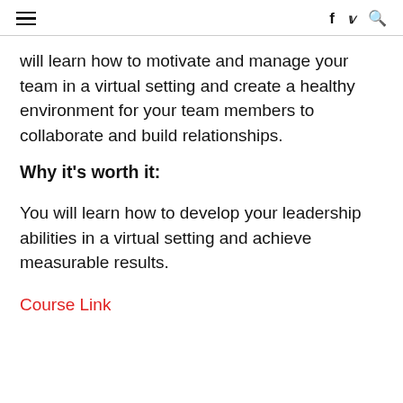≡  f  𝕏  🔍
will learn how to motivate and manage your team in a virtual setting and create a healthy environment for your team members to collaborate and build relationships.
Why it's worth it:
You will learn how to develop your leadership abilities in a virtual setting and achieve measurable results.
Course Link